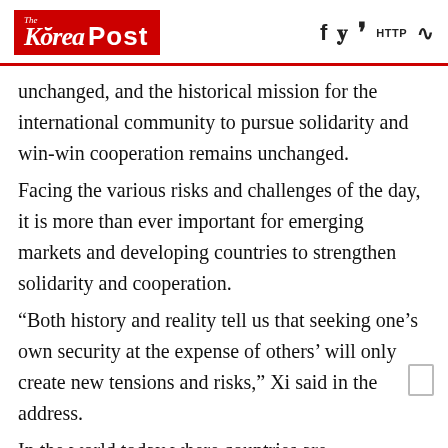The Korea Post
unchanged, and the historical mission for the international community to pursue solidarity and win-win cooperation remains unchanged.
Facing the various risks and challenges of the day, it is more than ever important for emerging markets and developing countries to strengthen solidarity and cooperation.
“Both history and reality tell us that seeking one’s own security at the expense of others’ will only create new tensions and risks,” Xi said in the address.
In the world today where countries are interdependent, the pursuit of absolute and exclusive security has no way out. Countries must replace